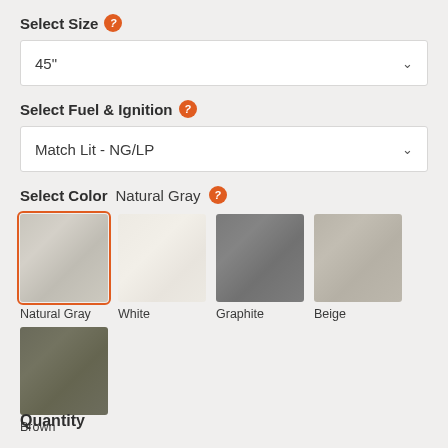Select Size
45"
Select Fuel & Ignition
Match Lit - NG/LP
Select Color  Natural Gray
[Figure (illustration): Five color swatches: Natural Gray (selected, orange border), White, Graphite, Beige, and Brown]
Quantity